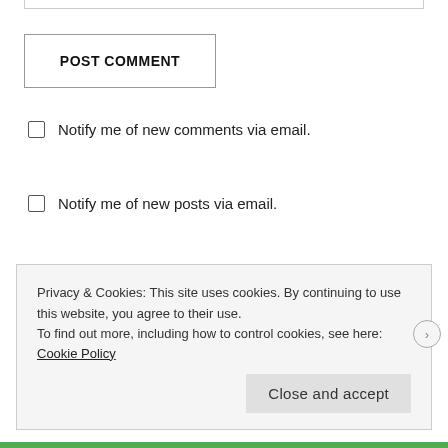[Figure (screenshot): Bottom portion of a web comment form showing a 'POST COMMENT' button]
Notify me of new comments via email.
Notify me of new posts via email.
Thank you for supporting my content!! If you would like to contribute to my work, please click the below image to make a
Privacy & Cookies: This site uses cookies. By continuing to use this website, you agree to their use.
To find out more, including how to control cookies, see here: Cookie Policy
Close and accept